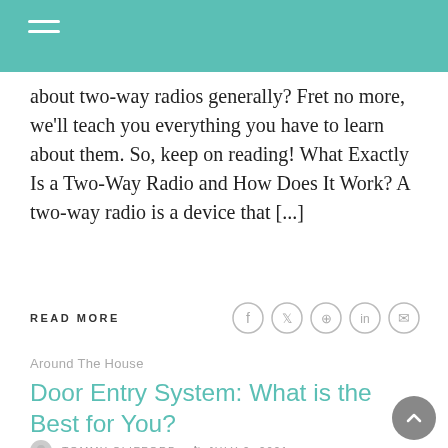about two-way radios generally? Fret no more, we'll teach you everything you have to learn about them. So, keep on reading! What Exactly Is a Two-Way Radio and How Does It Work? A two-way radio is a device that [...]
READ MORE
Around The House
Door Entry System: What is the Best for You?
TOMMY CLIFFORD  JULY 2, 2021
A door entry system, also known as an access control system, is commonly used in residential